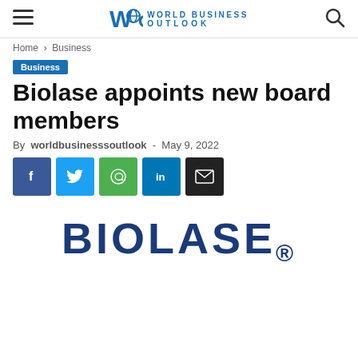World Business Outlook
Home > Business
Business
Biolase appoints new board members
By worldbusinesssoutlook - May 9, 2022
[Figure (logo): Social sharing buttons: Facebook, Twitter, WhatsApp, LinkedIn, Email]
[Figure (logo): BIOLASE company logo in dark blue bold text]